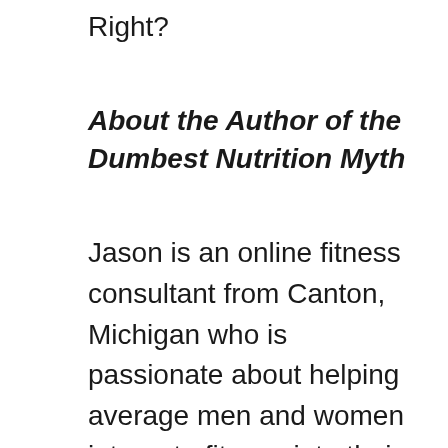Right?
About the Author of the Dumbest Nutrition Myth
Jason is an online fitness consultant from Canton, Michigan who is passionate about helping average men and women integrate fitness into their hectic schedules. His firm, Anyman Fitness, LLC, was founded in 2013 and has had over 650 clients to date.
Jason holds a BA from Eastern Michigan University and a MA from the